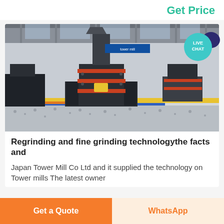Get Price
[Figure (photo): Industrial grinding mills/tower mills displayed in a factory floor setting, showing large black heavy machinery with red mechanical components, surrounded by gray aggregate/gravel, inside a spacious industrial warehouse with colorful floor markings.]
Regrinding and fine grinding technologythe facts and
Japan Tower Mill Co Ltd and it supplied the technology on Tower mills The latest owner
Get a Quote
WhatsApp